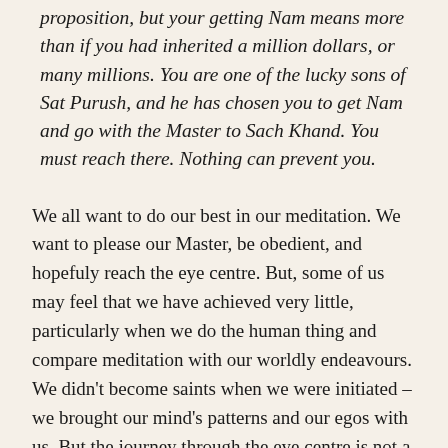proposition, but your getting Nam means more than if you had inherited a million dollars, or many millions. You are one of the lucky sons of Sat Purush, and he has chosen you to get Nam and go with the Master to Sach Khand. You must reach there. Nothing can prevent you.
We all want to do our best in our meditation. We want to please our Master, be obedient, and hopefuly reach the eye centre. But, some of us may feel that we have achieved very little, particularly when we do the human thing and compare meditation with our worldly endeavours. We didn't become saints when we were initiated – we brought our mind's patterns and our egos with us. But the journey through the eye centre is not a worldly human activity. This is a spiritual endeavour for which we have no comparison.